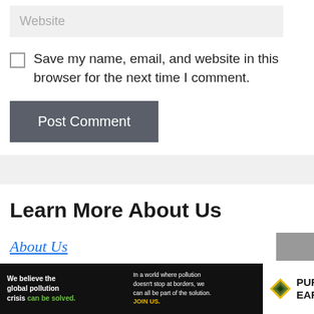Website
Save my name, email, and website in this browser for the next time I comment.
Post Comment
Learn More About Us
About Us
[Figure (screenshot): Advertisement banner: We believe the global pollution crisis can be solved. In a world where pollution doesn't stop at borders, we can all be part of the solution. JOIN US. PURE EARTH logo.]